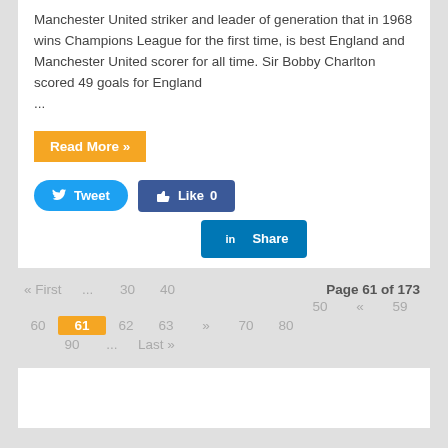Manchester United striker and leader of generation that in 1968 wins Champions League for the first time, is best England and Manchester United scorer for all time. Sir Bobby Charlton scored 49 goals for England ...
Read More »
Tweet  Like 0  Share
« First ... 30 40 Page 61 of 173 50 « 59 60 61 62 63 » 70 80 90 ... Last »